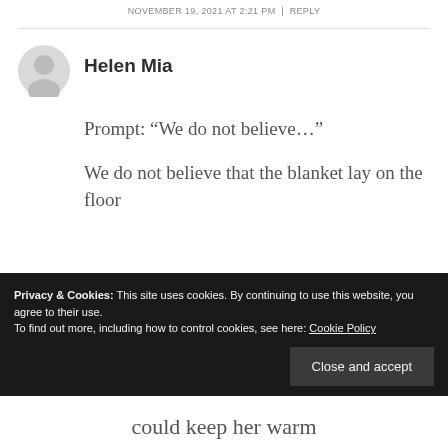NOVEMBER 19, 2021 AT 2:21 PM | REPLY
[Figure (illustration): Gray default user avatar circle with silhouette]
Helen Mia
Prompt: “We do not believe…”
We do not believe that the blanket lay on the floor could keep her warm
Privacy & Cookies: This site uses cookies. By continuing to use this website, you agree to their use.
To find out more, including how to control cookies, see here: Cookie Policy
Close and accept